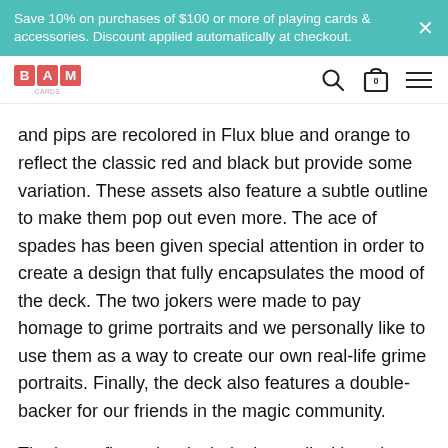Save 10% on purchases of $100 or more of playing cards & accessories. Discount applied automatically at checkout.
[Figure (logo): BAM playing cards logo - three red boxes with letters B, A, M]
and pips are recolored in Flux blue and orange to reflect the classic red and black but provide some variation. These assets also feature a subtle outline to make them pop out even more. The ace of spades has been given special attention in order to create a design that fully encapsulates the mood of the deck. The two jokers were made to pay homage to grime portraits and we personally like to use them as a way to create our own real-life grime portraits. Finally, the deck also features a double-backer for our friends in the magic community.
The box reflects the deck design well without it being a direct copy. It provides a negative of what lies within while still having a few unique aspects. As most cardists and magicians would agree, there is no substitute for the quality that comes with a deck printed by USPCC. For thi